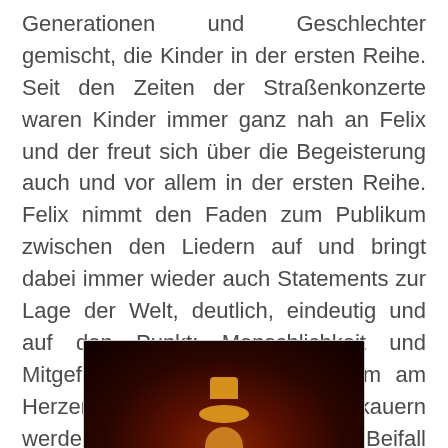Generationen und Geschlechter gemischt, die Kinder in der ersten Reihe. Seit den Zeiten der Straßenkonzerte waren Kinder immer ganz nah an Felix und der freut sich über die Begeisterung auch und vor allem in der ersten Reihe. Felix nimmt den Faden zum Publikum zwischen den Liedern auf und bringt dabei immer wieder auch Statements zur Lage der Welt, deutlich, eindeutig und auf den Punkt: Menschlichkeit und Mitgefühl sind die Dinge, die ihm am Herzen liegen. Von den Zwickauern werden die Einlassungen mit viel Beifall bedacht.
[Figure (photo): A dark-toned photograph showing a figure with a yellow/golden hat against a dark reddish-brown background, likely a performer on stage.]